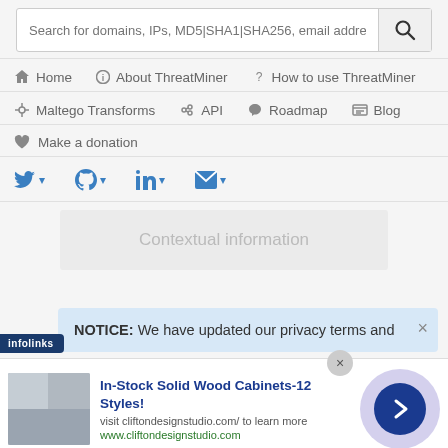[Figure (screenshot): Search bar with placeholder text: Search for domains, IPs, MD5|SHA1|SHA256, email address or AP]
Home
About ThreatMiner
How to use ThreatMiner
Maltego Transforms
API
Roadmap
Blog
Make a donation
[Figure (screenshot): Social media icons row: Twitter, GitHub, LinkedIn, Email — each with dropdown arrow]
Contextual information
NOTICE: We have updated our privacy terms and
[Figure (screenshot): Advertisement: In-Stock Solid Wood Cabinets-12 Styles! visit cliftondesignstudio.com/ to learn more www.cliftondesignstudio.com]